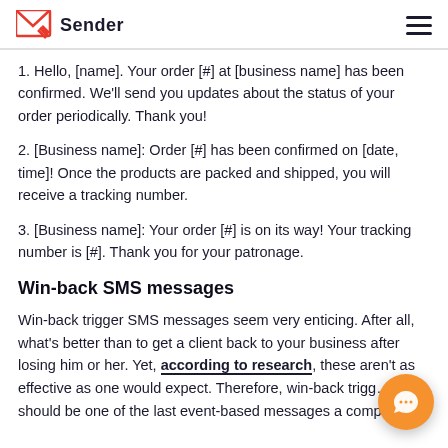Sender
1. Hello, [name]. Your order [#] at [business name] has been confirmed. We’ll send you updates about the status of your order periodically. Thank you!
2. [Business name]: Order [#] has been confirmed on [date, time]! Once the products are packed and shipped, you will receive a tracking number.
3. [Business name]: Your order [#] is on its way! Your tracking number is [#]. Thank you for your patronage.
Win-back SMS messages
Win-back trigger SMS messages seem very enticing. After all, what’s better than to get a client back to your business after losing him or her. Yet, according to research, these aren’t as effective as one would expect. Therefore, win-back trigger should be one of the last event-based messages a company